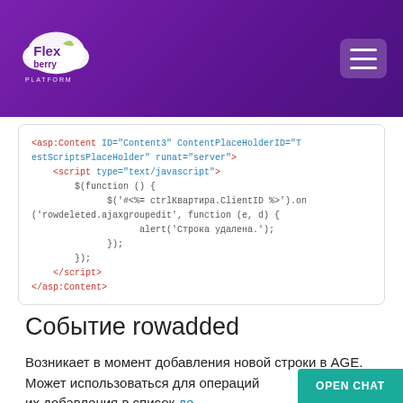Flexberry Platform
[Figure (screenshot): Code block showing ASP.NET ContentPlaceHolder script with rowdeleted.ajaxgroupedit event handler]
Событие rowadded
Возникает в момент добавления новой строки в AGE. Может использоваться для операций с AGE в момент их добавления в список де...